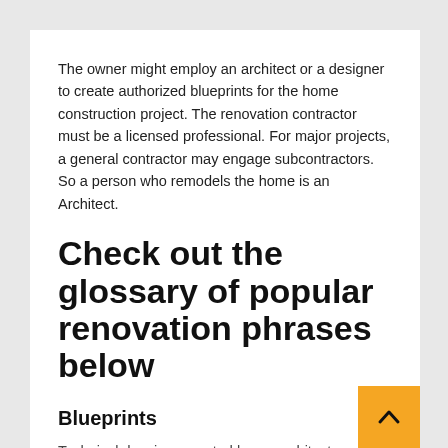The owner might employ an architect or a designer to create authorized blueprints for the home construction project. The renovation contractor must be a licensed professional. For major projects, a general contractor may engage subcontractors. So a person who remodels the home is an Architect.
Check out the glossary of popular renovation phrases below
Blueprints
Technical drawings created by an architect or designer that serve as the blueprint or floor plan for a home